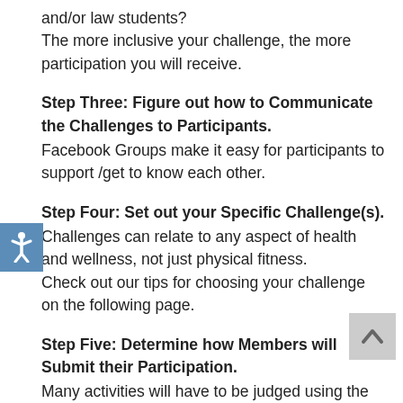and/or law students?
The more inclusive your challenge, the more participation you will receive.
Step Three: Figure out how to Communicate the Challenges to Participants.
Facebook Groups make it easy for participants to support /get to know each other.
Step Four: Set out your Specific Challenge(s).
Challenges can relate to any aspect of health and wellness, not just physical fitness.
Check out our tips for choosing your challenge on the following page.
Step Five: Determine how Members will Submit their Participation.
Many activities will have to be judged using the honor system, and that is okay.
Websites like https://www.countit.com/#/ can also help